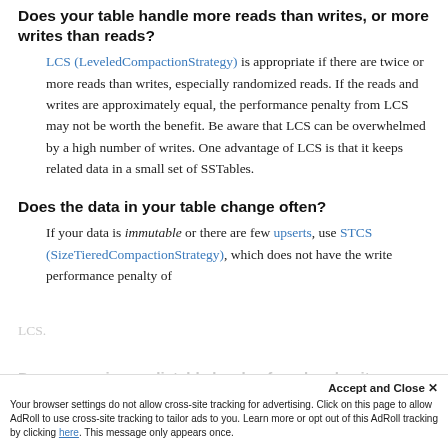Does your table handle more reads than writes, or more writes than reads?
LCS (LeveledCompactionStrategy) is appropriate if there are twice or more reads than writes, especially randomized reads. If the reads and writes are approximately equal, the performance penalty from LCS may not be worth the benefit. Be aware that LCS can be overwhelmed by a high number of writes. One advantage of LCS is that it keeps related data in a small set of SSTables.
Does the data in your table change often?
If your data is immutable or there are few upserts, use STCS (SizeTieredCompactionStrategy), which does not have the write performance penalty of LCS.
Your browser settings do not allow cross-site tracking for advertising. Click on this page to allow AdRoll to use cross-site tracking to tailor ads to you. Learn more or opt out of this AdRoll tracking by clicking here. This message only appears once.